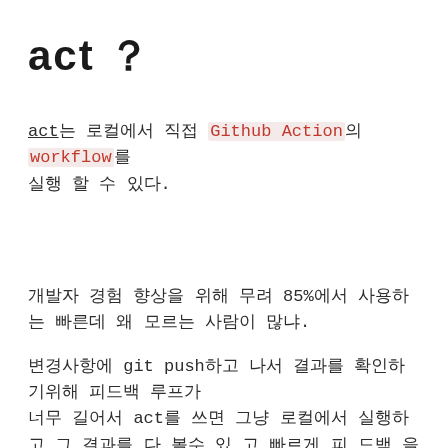act ?
act는 로컬에서 직접 Github Action의 workflow를 실행 할 수 있다.
개발자 경험 향상을 위해 무려 85%에서 사용하는 빠른데 왜 모르는 사람이 많냐.
변경사항에 git push하고 나서 결과를 확인하기위해 피드백 루프가 너무 길어서 act를 쓰면 그냥 로컬에서 실행하 고 그 결과를 다 볼수 있 고 빠르게 피 드백 을 받을수 있 다.